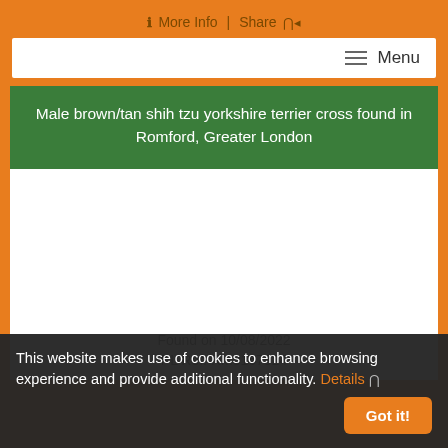More Info | Share
Menu
Male brown/tan shih tzu yorkshire terrier cross found in Romford, Greater London
Found on 10/08/2022
PL Ref: RM0167524
This website makes use of cookies to enhance browsing experience and provide additional functionality. Details